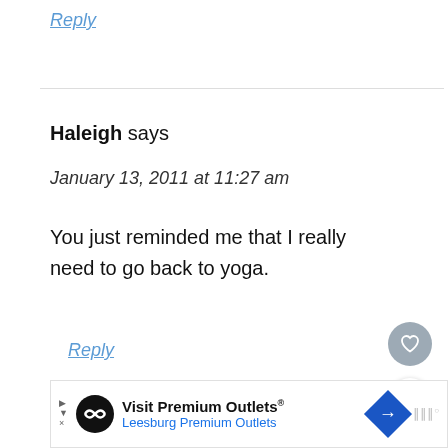Reply
Haleigh says
January 13, 2011 at 11:27 am
You just reminded me that I really need to go back to yoga.
Reply
[Figure (other): Heart like button (circular grey button with white heart icon)]
[Figure (other): Share button (circular white button with share icon and plus sign)]
[Figure (other): What's Next panel: circular thumbnail image, label 'WHAT'S NEXT', title 'Awake + Hazed']
[Figure (other): Advertisement banner: Visit Premium Outlets® Leesburg Premium Outlets, with logo, navigation icon, and volume icon]